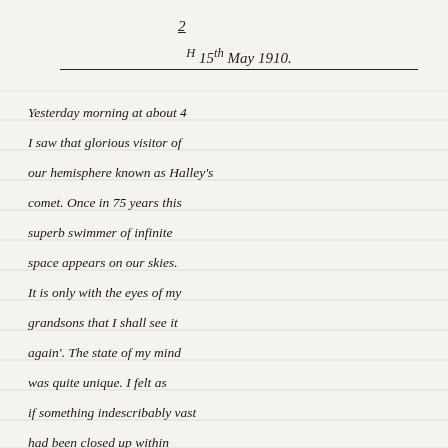2
# 15th May 1910.
Yesterday morning at about 4 I saw that glorious visitor of our hemisphere known as Halley's comet. Once in 75 years this superb swimmer of infinite space appears on our skies. It is only with the eyes of my grandsons that I shall see it again'. The state of my mind was quite unique. I felt as if something indescribably vast had been closed up within